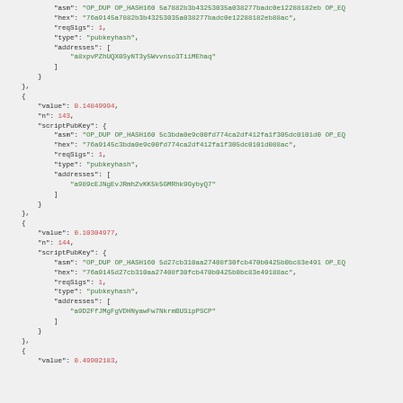JSON code block showing Bitcoin transaction output data with scriptPubKey fields including asm, hex, reqSigs, type, and addresses for multiple vout entries (n:143, n:144, and start of next entry with value 0.49902183)